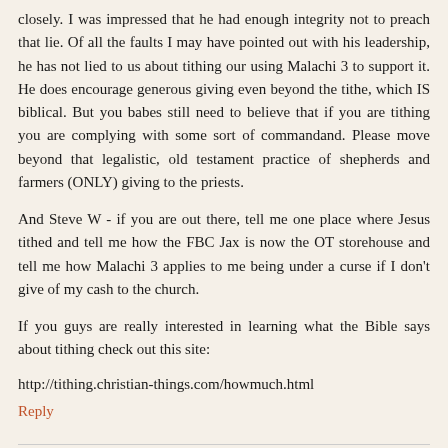closely. I was impressed that he had enough integrity not to preach that lie. Of all the faults I may have pointed out with his leadership, he has not lied to us about tithing our using Malachi 3 to support it. He does encourage generous giving even beyond the tithe, which IS biblical. But you babes still need to believe that if you are tithing you are complying with some sort of commandand. Please move beyond that legalistic, old testament practice of shepherds and farmers (ONLY) giving to the priests.
And Steve W - if you are out there, tell me one place where Jesus tithed and tell me how the FBC Jax is now the OT storehouse and tell me how Malachi 3 applies to me being under a curse if I don't give of my cash to the church.
If you guys are really interested in learning what the Bible says about tithing check out this site:
http://tithing.christian-things.com/howmuch.html
Reply
Anonymous April 15, 2008 at 8:26 AM